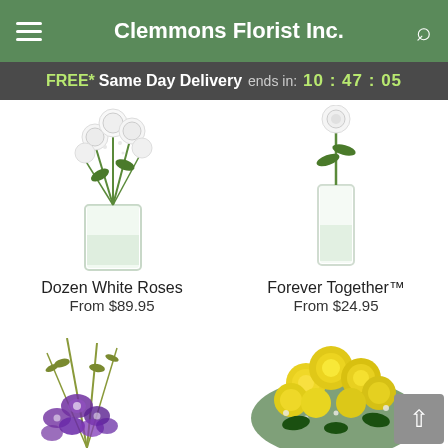Clemmons Florist Inc.
FREE* Same Day Delivery ends in: 10 : 47 : 05
[Figure (photo): Dozen white roses in a glass vase with greenery and baby's breath]
Dozen White Roses
From $89.95
[Figure (photo): Forever Together arrangement in a tall glass vase, single flower with greens]
Forever Together™
From $24.95
[Figure (photo): Purple orchid arrangement with tall green branches and stems]
[Figure (photo): Dozen yellow roses bouquet with baby's breath and greenery]